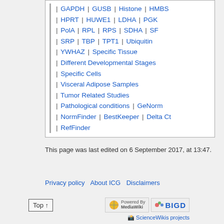GAPDH | GUSB | Histone | HMBS | HPRT | HUWE1 | LDHA | PGK | PolA | RPL | RPS | SDHA | SF | SRP | TBP | TPT1 | Ubiquitin | YWHAZ | Specific Tissue | Different Developmental Stages | Specific Cells | Visceral Adipose Samples | Tumor Related Studies | Pathological conditions | GeNorm | NormFinder | BestKeeper | Delta Ct | RefFinder
This page was last edited on 6 September 2017, at 13:47.
Privacy policy | About ICG | Disclaimers
Top ↑